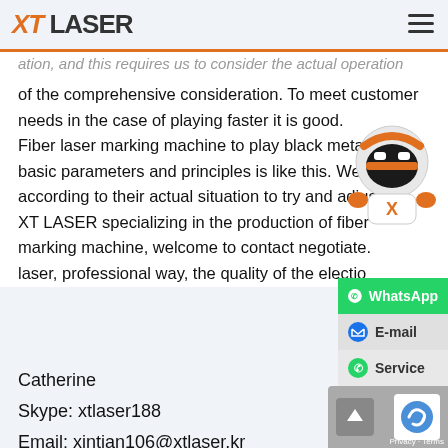XT LASER
ation, and this requires us to consider the actual operation of the comprehensive consideration. To meet customer needs in the case of playing faster it is good. Fiber laser marking machine to play black metal with basic parameters and principles is like this. We can according to their actual situation to try and adjust. XT LASER specializing in the production of fiber marking machine, welcome to contact negotiate. laser, professional way, the quality of the election
[Figure (illustration): XT LASER robot mascot - white and orange robot character]
Catherine
Skype: xtlaser188
Email: xintian106@xtlaser.kr